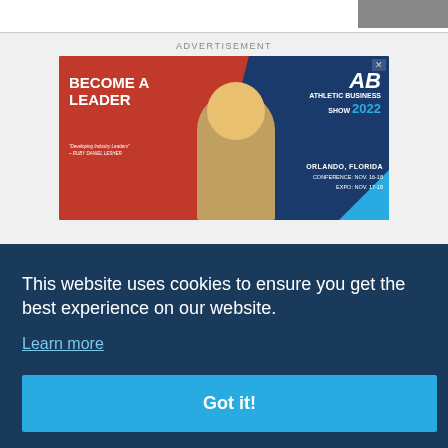[Figure (photo): Partial photo thumbnail in top-right corner]
ADVERTISEMENT
[Figure (infographic): Athletic Business Show 2022 advertisement banner. Red left side with 'BECOME A LEADER' in white bold text, quote 'Developing Industry Leaders – Ruby Daniel Lesher', photo of a woman with short blonde hair, blue right side with AB Athletic Business Show 2022 logo, Orlando Florida conference dates Nov 16-18, Expo Nov 17-18.]
This website uses cookies to ensure you get the best experience on our website. Learn more
Got it!
USA Weightlifting Chooses